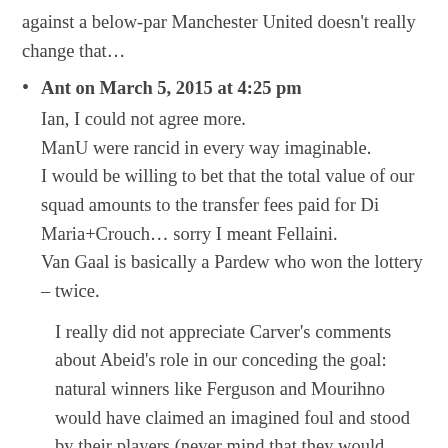against a below-par Manchester United doesn't really change that…
Ant on March 5, 2015 at 4:25 pm
Ian, I could not agree more.
ManU were rancid in every way imaginable.
I would be willing to bet that the total value of our squad amounts to the transfer fees paid for Di Maria+Crouch… sorry I meant Fellaini.
Van Gaal is basically a Pardew who won the lottery – twice.
I really did not appreciate Carver's comments about Abeid's role in our conceding the goal: natural winners like Ferguson and Mourihno would have claimed an imagined foul and stood by their players (never mind that they would